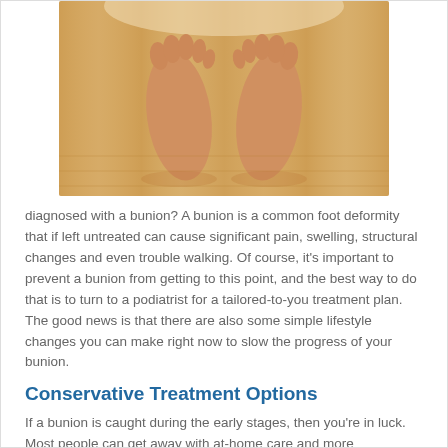[Figure (photo): Two bare human feet standing on a light wood floor, viewed from above, toes spread slightly.]
diagnosed with a bunion? A bunion is a common foot deformity that if left untreated can cause significant pain, swelling, structural changes and even trouble walking. Of course, it's important to prevent a bunion from getting to this point, and the best way to do that is to turn to a podiatrist for a tailored-to-you treatment plan. The good news is that there are also some simple lifestyle changes you can make right now to slow the progress of your bunion.
Conservative Treatment Options
If a bunion is caught during the early stages, then you're in luck. Most people can get away with at-home care and more conservative ways to manage their